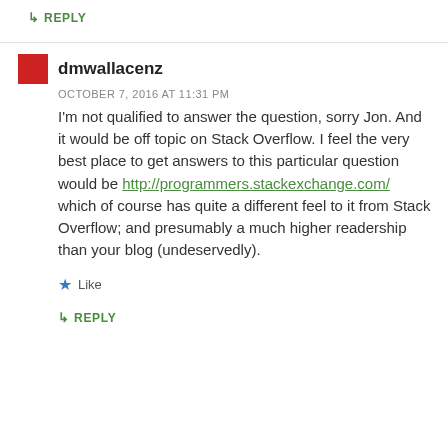↳ REPLY
dmwallacenz
OCTOBER 7, 2016 AT 11:31 PM
I'm not qualified to answer the question, sorry Jon. And it would be off topic on Stack Overflow. I feel the very best place to get answers to this particular question would be http://programmers.stackexchange.com/ which of course has quite a different feel to it from Stack Overflow; and presumably a much higher readership than your blog (undeservedly).
Like
↳ REPLY